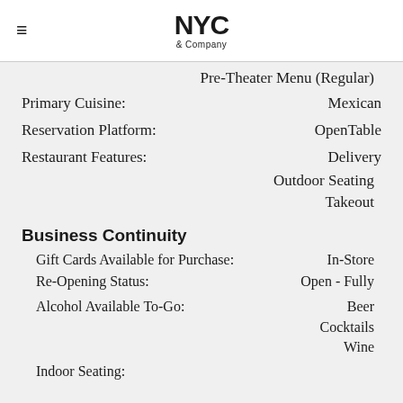NYC & Company
Pre-Theater Menu (Regular)
Primary Cuisine: Mexican
Reservation Platform: OpenTable
Restaurant Features: Delivery
Outdoor Seating
Takeout
Business Continuity
Gift Cards Available for Purchase: In-Store
Re-Opening Status: Open - Fully
Alcohol Available To-Go: Beer
Cocktails
Wine
Indoor Seating: